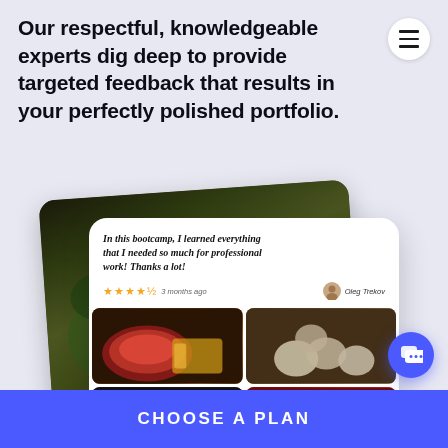Our respectful, knowledgeable experts dig deep to provide targeted feedback that results in your perfectly polished portfolio.
[Figure (screenshot): A mobile app screenshot showing a photography bootcamp review card with star rating, reviewer name 'Oleg Trekov', text 'In this bootcamp, I learned everything that I needed so much for professional work! Thanks a lot!', and a grid of food photography images including salad, meat, eggs, and berries.]
CHOOSE A PLAN